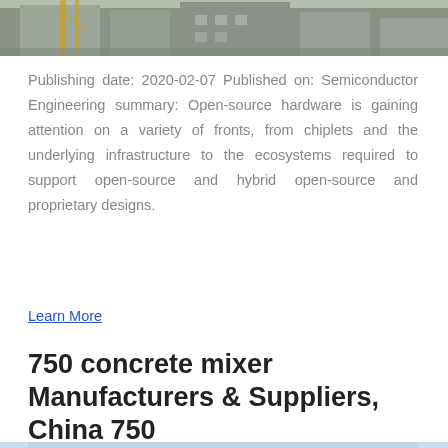[Figure (photo): A photo of industrial or construction site buildings with yellow scaffolding or equipment visible, taken from a distance, showing gray structures.]
Publishing date: 2020-02-07 Published on: Semiconductor Engineering summary: Open-source hardware is gaining attention on a variety of fronts, from chiplets and the underlying infrastructure to the ecosystems required to support open-source and hybrid open-source and proprietary designs.
Learn More
750 concrete mixer Manufacturers & Suppliers, China 750
[Figure (photo): A photo of a tall concrete mixer tower or batching plant structure against a light blue sky, with metal staircases and industrial equipment visible.]